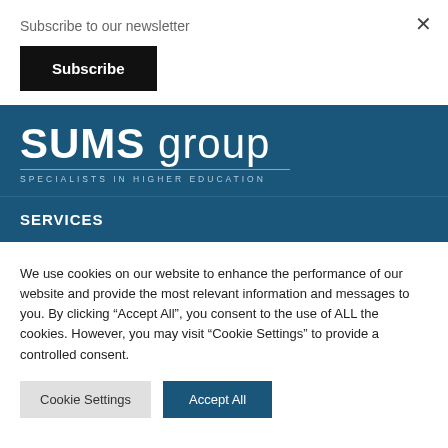Subscribe to our newsletter
Subscribe
[Figure (logo): SUMS group logo with tagline SPECIALISTS IN HIGHER EDUCATION on dark blue background]
SERVICES
We use cookies on our website to enhance the performance of our website and provide the most relevant information and messages to you. By clicking “Accept All”, you consent to the use of ALL the cookies. However, you may visit “Cookie Settings” to provide a controlled consent.
Cookie Settings
Accept All